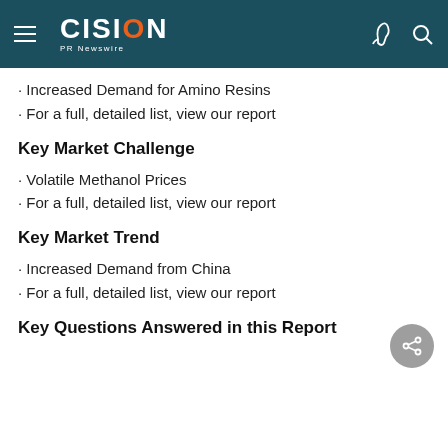CISION PR Newswire
· Increased Demand for Amino Resins
· For a full, detailed list, view our report
Key Market Challenge
· Volatile Methanol Prices
· For a full, detailed list, view our report
Key Market Trend
· Increased Demand from China
· For a full, detailed list, view our report
Key Questions Answered in this Report